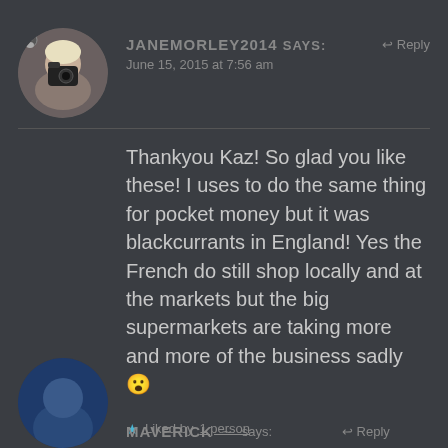[Figure (photo): Circular profile photo of a woman holding a camera]
JANEMORLEY2014 says: ↩ Reply
June 15, 2015 at 7:56 am
Thankyou Kaz! So glad you like these! I uses to do the same thing for pocket money but it was blackcurrants in England! Yes the French do still shop locally and at the markets but the big supermarkets are taking more and more of the business sadly 😮
★ Liked by 1 person
[Figure (photo): Circular profile photo partially visible at bottom of page]
MAVERICK ~ says: ↩ Reply